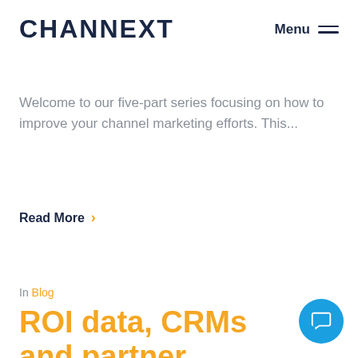CHANNEXT
Welcome to our five-part series focusing on how to improve your channel marketing efforts. This...
Read More >
In Blog
ROI data, CRMs and partner